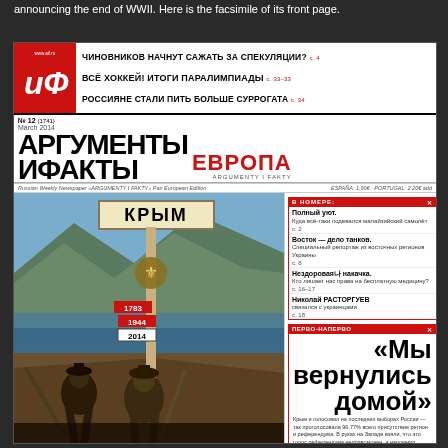announcing the end of WWII. Here is the facsimile of its front page.
[Figure (photo): Facsimile of the front page of 'Argumenty i Fakty Evropa' Russian weekly newspaper, No. 12 (1741), March 2014. The cover shows a historical photo of soldiers in Crimea with a sign reading 'КРЫМ' (Crimea) and a post with years 1783, 1944, 2014. Headline reads 'Мы вернулись домой' (We returned home). The right sidebar has sections 'В НОМЕРЕ' and 'ПЕРВО-НАПЕРВО' with article summaries.]